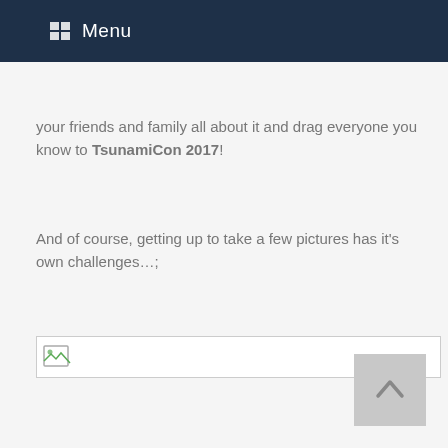Menu
your friends and family all about it and drag everyone you know to TsunamiCon 2017!
And of course, getting up to take a few pictures has it’s own challenges…;
[Figure (photo): Broken/missing image placeholder with small thumbnail icon]